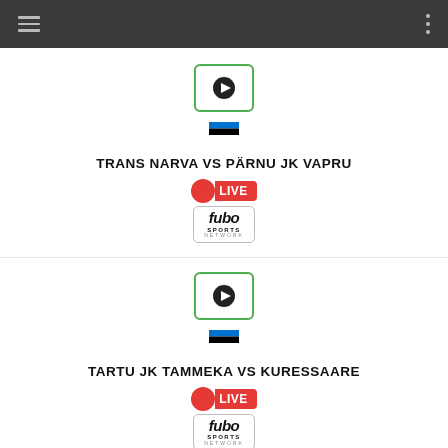Navigation header with hamburger menu and dots menu
[Figure (screenshot): Green-bordered play button icon]
[Figure (illustration): Estonian flag icon]
TRANS NARVA VS PÄRNU JK VAPRU
[Figure (logo): LIVE badge - red circle with LIVE text]
[Figure (logo): fubo Sports Network logo]
[Figure (screenshot): Green-bordered play button icon]
[Figure (illustration): Estonian flag icon]
TARTU JK TAMMEKA VS KURESSAARE
[Figure (logo): LIVE badge - red circle with LIVE text]
[Figure (logo): fubo Sports Network logo]